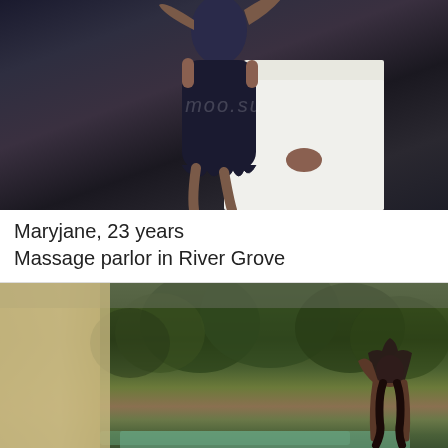[Figure (photo): Person in dark navy dress posing on a white bed, dark background with watermark text]
Maryjane, 23 years
Massage parlor in River Grove
[Figure (photo): Person posing outdoors near a pool with lush green trees in background, tan wall on the left side]